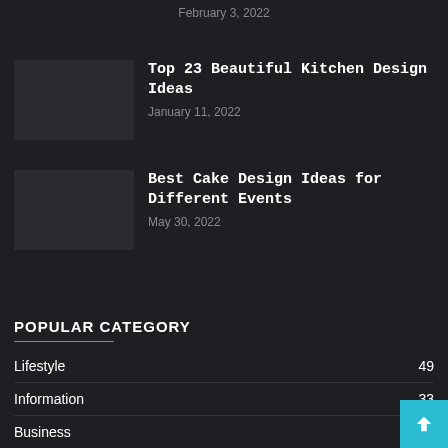February 3, 2022
Top 23 Beautiful Kitchen Design Ideas
January 11, 2022
Best Cake Design Ideas for Different Events
May 30, 2022
POPULAR CATEGORY
Lifestyle 49
Information 33
Business 30
Health & Fitness